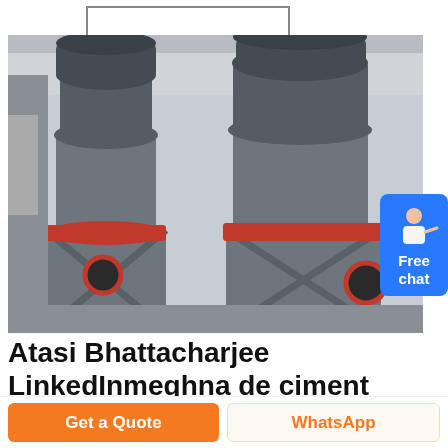[Figure (photo): Two large industrial cone crusher machines with gray body and red/orange trim rings, sitting on metal frames in a factory setting.]
Atasi Bhattacharjee LinkedInmeghna de ciment vente mondoinsiemeorg
Découvrez le profil de Atasi Bhattacharjee sur
Get a Quote
WhatsApp